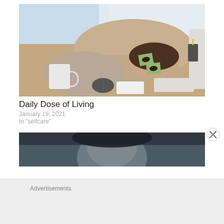[Figure (photo): Woman asleep at her desk with sticky notes with drawn eyes on her eyelids, coffee mug, mouse, and keyboard on the desk]
Daily Dose of Living
January 19, 2021
In "selfcare"
[Figure (photo): Partial view of a person's face, blurred, dark background]
Advertisements